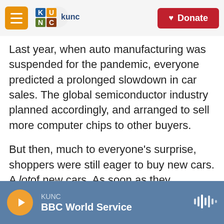KUNC | Donate
Last year, when auto manufacturing was suspended for the pandemic, everyone predicted a prolonged slowdown in car sales. The global semiconductor industry planned accordingly, and arranged to sell more computer chips to other buyers.
But then, much to everyone's surprise, shoppers were still eager to buy new cars. A lot of new cars. As soon as they reopened, plants resumed normal production at a remarkable speed.
At the same time, demand for chips from other sectors — like consumer electronics — was
KUNC | BBC World Service